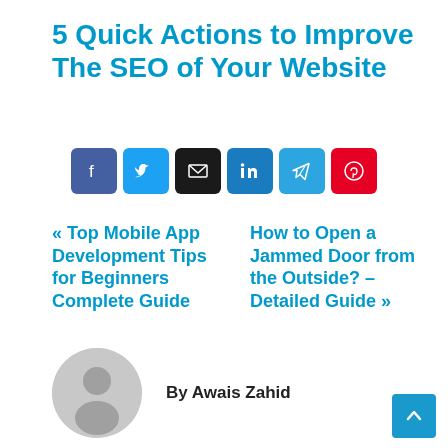5 Quick Actions to Improve The SEO of Your Website
[Figure (other): Social share buttons row: Facebook, Twitter, Email, LinkedIn, Telegram, Pinterest]
« Top Mobile App Development Tips for Beginners Complete Guide   How to Open a Jammed Door from the Outside? – Detailed Guide »
By Awais Zahid
[Figure (illustration): Generic user avatar placeholder circle with silhouette]